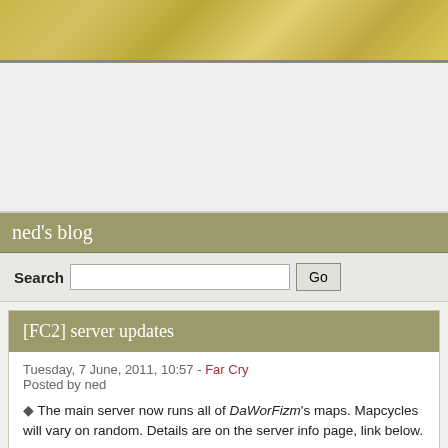[Figure (photo): Yellow/gold decorative banner image at top of blog page]
[Figure (other): Advertisement/empty area below banner]
ned's blog
Search [input field] Go [button]
[FC2] server updates
Tuesday, 7 June, 2011, 10:57 - Far Cry
Posted by ned
◆ The main server now runs all of DaWorFizm's maps. Mapcycles will vary on random. Details are on the server info page, link below.
New maps added
-Island
-Trench Town
Update
-Valkyrie Surf to v0.7
◆ The Test Server still refuses to work with Far Cry 2
*HELP* details in below link.